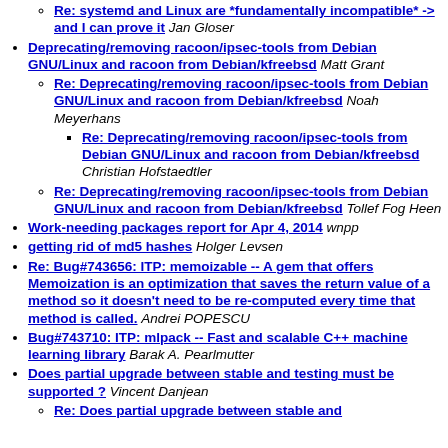Re: systemd and Linux are *fundamentally incompatible* -> and I can prove it  Jan Gloser
Deprecating/removing racoon/ipsec-tools from Debian GNU/Linux and racoon from Debian/kfreebsd  Matt Grant
Re: Deprecating/removing racoon/ipsec-tools from Debian GNU/Linux and racoon from Debian/kfreebsd  Noah Meyerhans
Re: Deprecating/removing racoon/ipsec-tools from Debian GNU/Linux and racoon from Debian/kfreebsd  Christian Hofstaedtler
Re: Deprecating/removing racoon/ipsec-tools from Debian GNU/Linux and racoon from Debian/kfreebsd  Tollef Fog Heen
Work-needing packages report for Apr 4, 2014  wnpp
getting rid of md5 hashes  Holger Levsen
Re: Bug#743656: ITP: memoizable -- A gem that offers Memoization is an optimization that saves the return value of a method so it doesn't need to be re-computed every time that method is called.  Andrei POPESCU
Bug#743710: ITP: mlpack -- Fast and scalable C++ machine learning library  Barak A. Pearlmutter
Does partial upgrade between stable and testing must be supported ?  Vincent Danjean
Re: Does partial upgrade between stable and ...